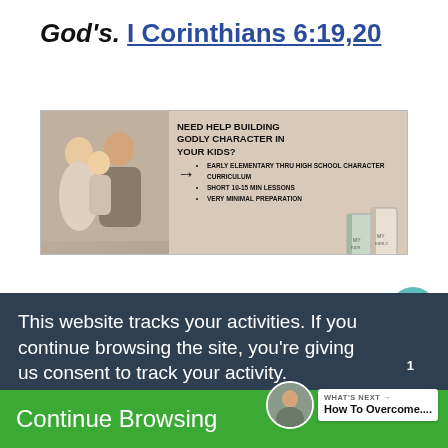God's. I Corinthians 6:19,20
[Figure (infographic): Advertisement banner for The Character Corner homeschool character curriculum. Left side shows a stock photo of a family. Text reads: NEED HELP BUILDING GODLY CHARACTER IN YOUR KIDS? with bullet points: EARLY ELEMENTARY THRU HIGH SCHOOL CHARACTER CURRICULUM, SHORT 10-15 MIN LESSONS, VERY MINIMAL PREPARATION. Books shown on right side.]
This website tracks your activities. If you continue browsing the site, you're giving us consent to track your activity.
Continue Browsing
WHAT'S NEXT → How To Overcome....